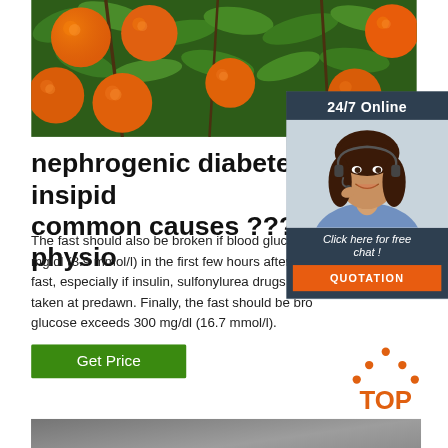[Figure (photo): Photo of orange fruits on a tree with green leaves visible in background]
[Figure (photo): Advertisement sidebar showing a woman with headset smiling, with '24/7 Online' header, 'Click here for free chat!' and orange QUOTATION button on dark blue background]
nephrogenic diabetes insipid common causes ????physio
The fast should also be broken if blood glucose mg/dl (3.9 mmol/l) in the first few hours after the fast, especially if insulin, sulfonylurea drugs, or m taken at predawn. Finally, the fast should be bro glucose exceeds 300 mg/dl (16.7 mmol/l).
[Figure (illustration): Green 'Get Price' button]
[Figure (logo): Orange dotted triangle 'TOP' logo in bottom right]
[Figure (photo): Partial photo at bottom of page, gray/muted tones]